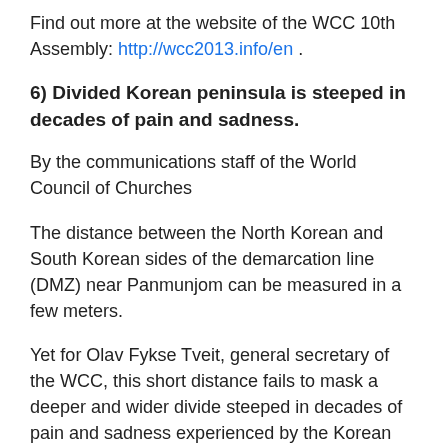Find out more at the website of the WCC 10th Assembly: http://wcc2013.info/en .
6) Divided Korean peninsula is steeped in decades of pain and sadness.
By the communications staff of the World Council of Churches
The distance between the North Korean and South Korean sides of the demarcation line (DMZ) near Panmunjom can be measured in a few meters.
Yet for Olav Fykse Tveit, general secretary of the WCC, this short distance fails to mask a deeper and wider divide steeped in decades of pain and sadness experienced by the Korean people.
While visiting the North Korean side of the DMZ recently, Tveit said, “The pain of separation felt by Koreans on both sides of the border is hard to ignore